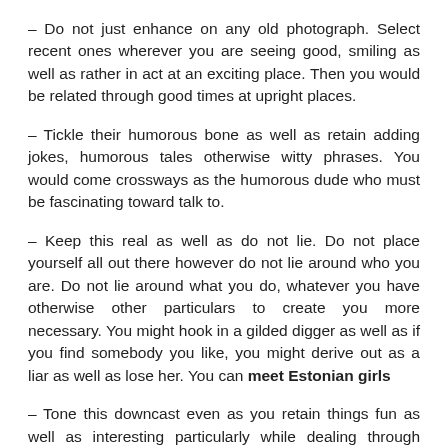– Do not just enhance on any old photograph. Select recent ones wherever you are seeing good, smiling as well as rather in act at an exciting place. Then you would be related through good times at upright places.
– Tickle their humorous bone as well as retain adding jokes, humorous tales otherwise witty phrases. You would come crossways as the humorous dude who must be fascinating toward talk to.
– Keep this real as well as do not lie. Do not place yourself all out there however do not lie around who you are. Do not lie around what you do, whatever you have otherwise other particulars to create you more necessary. You might hook in a gilded digger as well as if you find somebody you like, you might derive out as a liar as well as lose her. You can meet Estonian girls
– Tone this downcast even as you retain things fun as well as interesting particularly while dealing through women from varied cultures and spiritual beliefs. What is actual usual as well as ordinary to you for example the usage of curse words might be a actual huge deal to somebody else. Do not be offensive while decreasing request too.